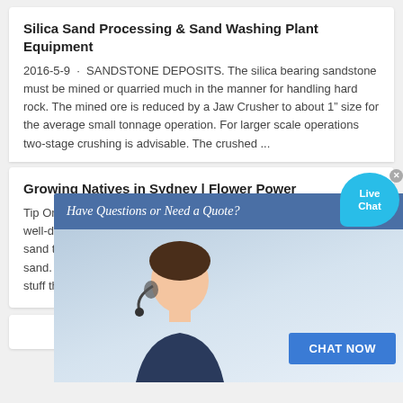Silica Sand Processing & Sand Washing Plant Equipment
2016-5-9 · SANDSTONE DEPOSITS. The silica bearing sandstone must be mined or quarried much in the manner for handling hard rock. The mined ore is reduced by a Jaw Crusher to about 1″ size for the average small tonnage operation. For larger scale operations two-stage crushing is advisable. The crushed …
[Figure (screenshot): Chat popup overlay with 'Have Questions or Need a Quote?' banner in blue, a customer service representative photo, a 'CHAT NOW' button, and a 'Live Chat' speech bubble in the top right corner.]
Growing Natives in Sydney | Flower Power
Tip One: Soil Type. The ideal composition for native growing is a well-drained soil with good sand content. I have tried many different sand types with no success, except for a little "secret" - horticultural sand. Horticultural sand is basically crushed sandstone - the very stuff that native plants are growing ...